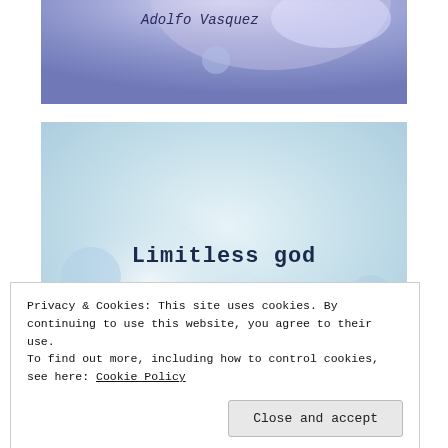[Figure (photo): Screenshot of a blog post image with blue/purple sky-like background and text 'Adolfo Vasquez' in dark cursive font at top left]
[Figure (photo): Screenshot of a blog post image with light blue misty background, showing text 'Limitless god' centered and below it 'We will never fully understand god' and partially visible 'Our human mind is not capable']
Privacy & Cookies: This site uses cookies. By continuing to use this website, you agree to their use.
To find out more, including how to control cookies, see here: Cookie Policy
Close and accept
[Figure (screenshot): Bottom sliver of another screenshot image, teal/blue colored]